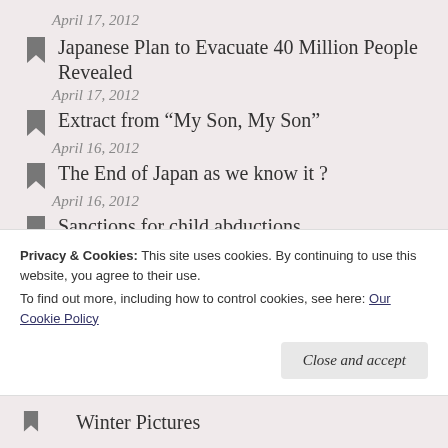April 17, 2012
Japanese Plan to Evacuate 40 Million People Revealed
April 17, 2012
Extract from “My Son, My Son”
April 16, 2012
The End of Japan as we know it ?
April 16, 2012
Sanctions for child abductions
April 16, 2012
Dying Slowly in Fukushima
April 16, 2012
Privacy & Cookies: This site uses cookies. By continuing to use this website, you agree to their use.
To find out more, including how to control cookies, see here: Our Cookie Policy
Winter Pictures